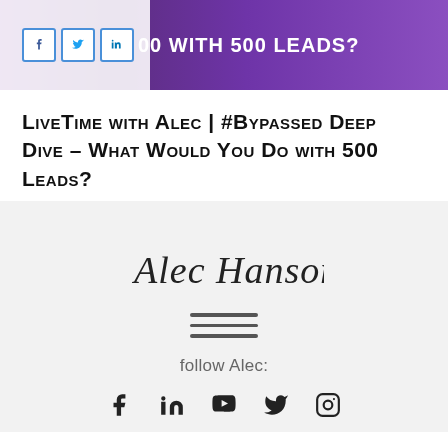[Figure (screenshot): Banner image with purple gradient background, social share buttons (Facebook, Twitter, LinkedIn) on white overlay on the left, and bold white text '00 WITH 500 LEADS?' on right.]
LiveTime with Alec | #Bypassed Deep Dive – What Would You Do with 500 Leads?
[Figure (illustration): Cursive handwritten signature reading 'Alec Hanson' in black ink on light gray background.]
[Figure (other): Three horizontal divider lines (hamburger/menu icon style) centered on light gray background.]
follow Alec:
[Figure (other): Row of social media icons: Facebook, LinkedIn, YouTube, Twitter, Instagram.]